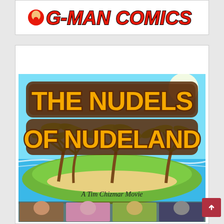[Figure (logo): G-Man Comics logo in red bold italic text with black outline]
DON'T BE AFRAID
[Figure (illustration): Movie poster for 'The Nudels of Nudeland - A Tim Chizmar Movie'. Shows large yellow/orange cartoon bubble text on a tropical beach scene with palm trees, ocean, and character portraits at the bottom.]